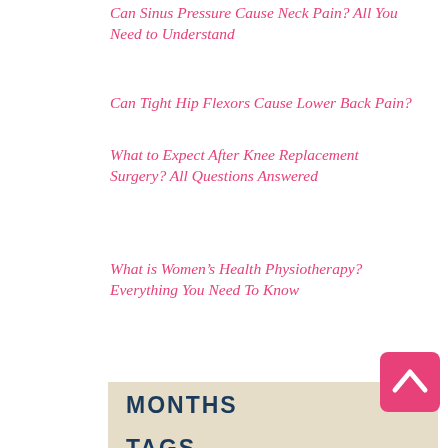Can Sinus Pressure Cause Neck Pain? All You Need to Understand
Can Tight Hip Flexors Cause Lower Back Pain?
What to Expect After Knee Replacement Surgery? All Questions Answered
What is Women’s Health Physiotherapy? Everything You Need To Know
MONTHS
December 2021 (1)
September 2021 (1)
TAGS